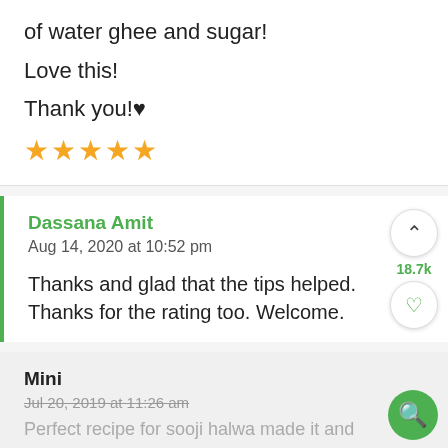of water ghee and sugar!
Love this!
Thank you!♥
★★★★★
Dassana Amit
Aug 14, 2020 at 10:52 pm
Thanks and glad that the tips helped. Thanks for the rating too. Welcome.
Mini
Jul 20, 2019 at 11:26 am
Perfect recipe for sooji halwa made it and